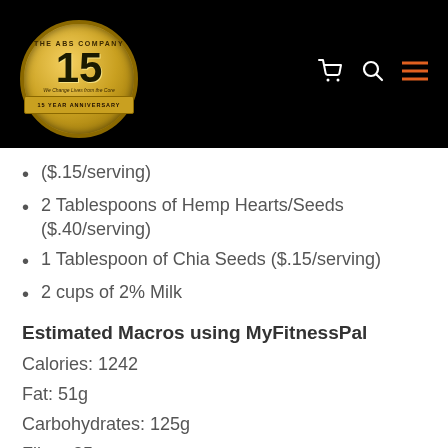[Figure (logo): The ABS Company 15 Year Anniversary logo — gold circular badge with '15' in large numerals, black background header with cart, search, and menu icons]
($.15/serving)
2 Tablespoons of Hemp Hearts/Seeds ($.40/serving)
1 Tablespoon of Chia Seeds ($.15/serving)
2 cups of 2% Milk
Estimated Macros using MyFitnessPal
Calories: 1242
Fat: 51g
Carbohydrates: 125g
Fiber: 25g